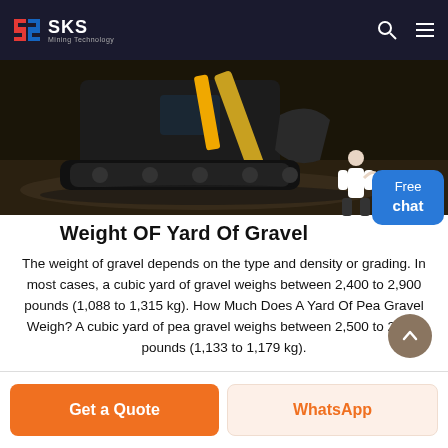SKS Mining Technology
[Figure (photo): Excavator bucket and arm on a dirt surface, dark background]
Weight OF Yard Of Gravel
The weight of gravel depends on the type and density or grading. In most cases, a cubic yard of gravel weighs between 2,400 to 2,900 pounds (1,088 to 1,315 kg). How Much Does A Yard Of Pea Gravel Weigh? A cubic yard of pea gravel weighs between 2,500 to 2,600 pounds (1,133 to 1,179 kg).
Get a Quote | WhatsApp